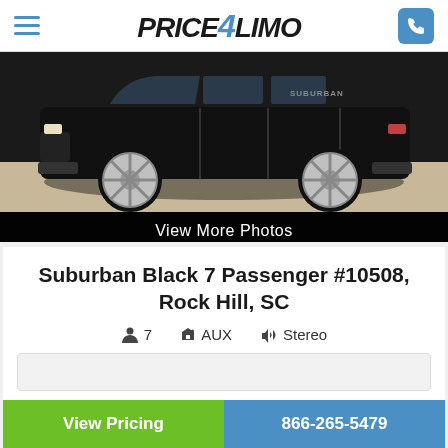PRICE4LIMO
[Figure (photo): Black Suburban SUV with chrome wheels viewed from the side, against a light background]
View More Photos
Suburban Black 7 Passenger #10508, Rock Hill, SC
7  AUX  Stereo
View Pricing   866-265-5479
Chat now